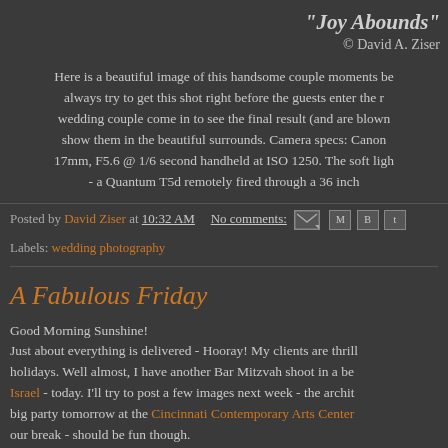"Joy Abounds"
© David A. Ziser
Here is a beautiful image of this handsome couple moments be... always try to get this shot right before the guests enter the r... wedding couple come in to see the final result (and are blown show them in the beautiful surrounds. Camera specs: Canon 17mm, F5.6 @ 1/6 second handheld at ISO 1250. The soft ligh - a Quantum T5d remotely fired through a 36 inch
Posted by David Ziser at 10:32 AM  No comments:
Labels: wedding photography
A Fabulous Friday
Good Morning Sunshine!
Just about everything is delivered - Hooray! My clients are thrill holidays. Well almost, I have another Bar Mitzvah shoot in a be Israel - today. I'll try to post a few images next week - the archit big party tomorrow at the Cincinnati Contemporary Arts Center our break - should be fun though.